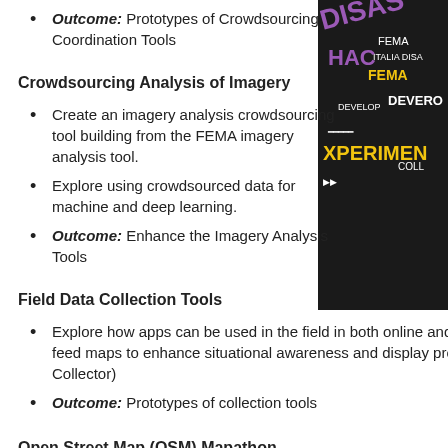Outcome: Prototypes of Crowdsourcing Coordination Tools
Crowdsourcing Analysis of Imagery
Create an imagery analysis crowdsourcing tool building from the FEMA imagery analysis tool.
Explore using crowdsourced data for machine and deep learning.
Outcome: Enhance the Imagery Analysis Tools
Field Data Collection Tools
Explore how apps can be used in the field in both online and offline settings to feed maps to enhance situational awareness and display progress. (Possible tool: Collector)
Outcome: Prototypes of collection tools
Open Street Map (OSM) Mapathon
Join OSM mappers all over the world to provide baseline maps in disaster areas. Great project for newcomers!
Outcome: OSM training and mapping